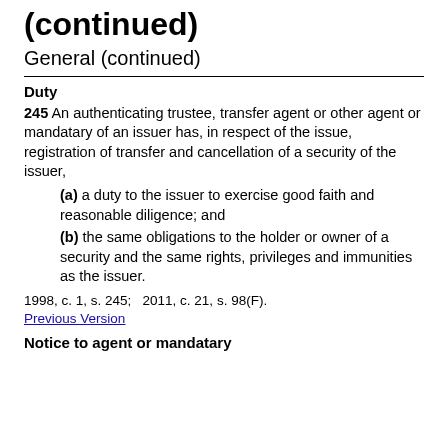(continued)
General (continued)
Duty
245 An authenticating trustee, transfer agent or other agent or mandatary of an issuer has, in respect of the issue, registration of transfer and cancellation of a security of the issuer,
(a) a duty to the issuer to exercise good faith and reasonable diligence; and
(b) the same obligations to the holder or owner of a security and the same rights, privileges and immunities as the issuer.
1998, c. 1, s. 245;   2011, c. 21, s. 98(F).
Previous Version
Notice to agent or mandatary